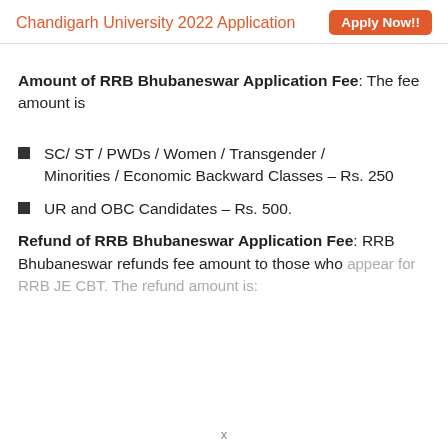Chandigarh University 2022 Application  Apply Now!!
Amount of RRB Bhubaneswar Application Fee: The fee amount is
SC/ ST / PWDs / Women / Transgender / Minorities / Economic Backward Classes – Rs. 250
UR and OBC Candidates – Rs. 500.
Refund of RRB Bhubaneswar Application Fee: RRB Bhubaneswar refunds fee amount to those who appear for RRB JE CBT. The refund amount is: